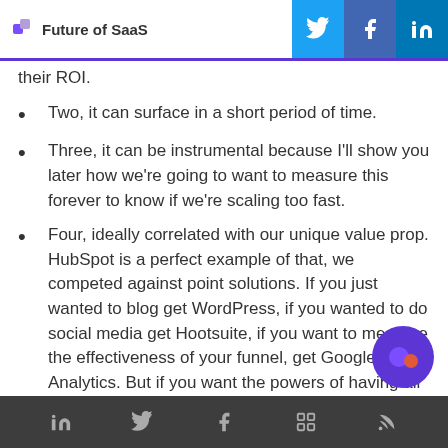Future of SaaS
their ROI.
Two, it can surface in a short period of time.
Three, it can be instrumental because I'll show you later how we're going to want to measure this forever to know if we're scaling too fast.
Four, ideally correlated with our unique value prop. HubSpot is a perfect example of that, we competed against point solutions. If you just wanted to blog get WordPress, if you wanted to do social media get Hootsuite, if you want to measure the effectiveness of your funnel, get Google Analytics. But if you want the powers of having all that in one, then HubSpot is your best solution. The fact that th